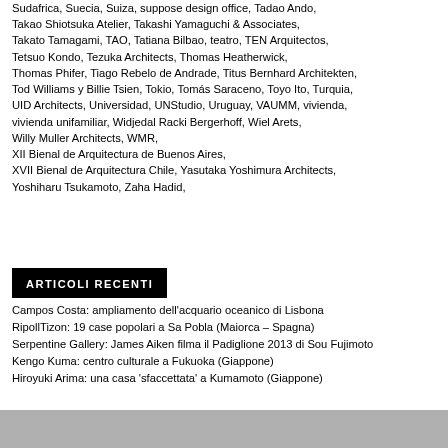Sudafrica, Suecia, Suiza, suppose design office, Tadao Ando, Takao Shiotsuka Atelier, Takashi Yamaguchi & Associates, Takato Tamagami, TAO, Tatiana Bilbao, teatro, TEN Arquitectos, Tetsuo Kondo, Tezuka Architects, Thomas Heatherwick, Thomas Phifer, Tiago Rebelo de Andrade, Titus Bernhard Architekten, Tod Williams y Billie Tsien, Tokio, Tomás Saraceno, Toyo Ito, Turquia, UID Architects, Universidad, UNStudio, Uruguay, VAUMM, vivienda, vivienda unifamiliar, Widjedal Racki Bergerhoff, Wiel Arets, Willy Muller Architects, WMR, XII Bienal de Arquitectura de Buenos Aires, XVII Bienal de Arquitectura Chile, Yasutaka Yoshimura Architects, Yoshiharu Tsukamoto, Zaha Hadid,
ARTICOLI RECENTI
Campos Costa: ampliamento dell'acquario oceanico di Lisbona
RipollTizon: 19 case popolari a Sa Pobla (Maiorca – Spagna)
Serpentine Gallery: James Aiken filma il Padiglione 2013 di Sou Fujimoto
Kengo Kuma: centro culturale a Fukuoka (Giappone)
Hiroyuki Arima: una casa 'sfaccettata' a Kumamoto (Giappone)